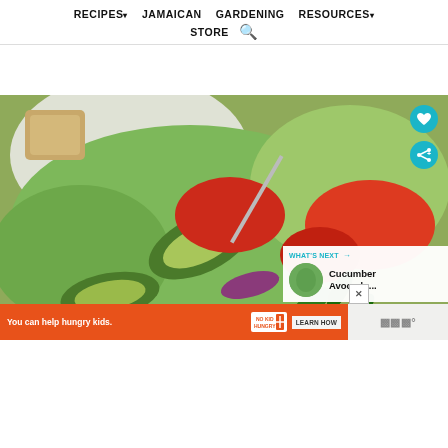RECIPES▾   JAMAICAN   GARDENING   RESOURCES▾   STORE 🔍
[Figure (photo): Close-up photo of a salad bowl with avocado slices, tomato wedges, lettuce, fresh basil leaves, and red onion, with a fork visible. Teal heart and share social buttons visible top-right. 'What's Next → Cucumber Avocado...' panel bottom-right. Orange 'No Kid Hungry' ad banner at bottom.]